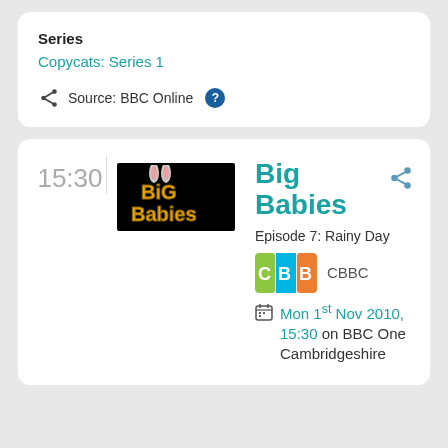Series
Copycats: Series 1
Source: BBC Online
15:30
[Figure (photo): Big Babies TV show logo on black background with yellow stylized text and bunny ears]
Big Babies
Episode 7: Rainy Day
[Figure (logo): CBBC channel logo - colourful logo]
CBBC
Mon 1st Nov 2010, 15:30 on BBC One Cambridgeshire